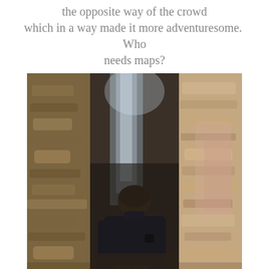the opposite way of the crowd which in a way made it more adventuresome. Who needs maps?
[Figure (photo): A person wearing a dark navy blue jacket seen from behind, squeezing through a very narrow slot canyon with tall rocky sandstone walls on either side. The canyon walls show layered rock textures in browns, tans, and grays.]